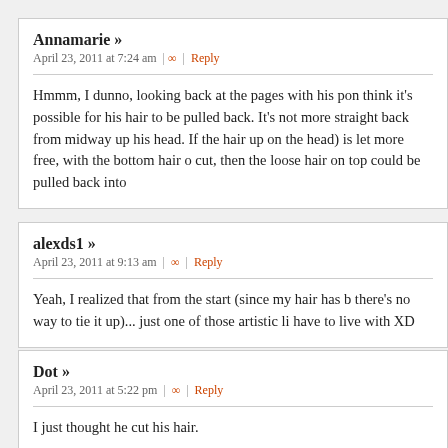Annamarie »
April 23, 2011 at 7:24 am | ∞ | Reply
Hmmm, I dunno, looking back at the pages with his pon think it's possible for his hair to be pulled back. It's not more straight back from midway up his head. If the hair up on the head) is let more free, with the bottom hair o cut, then the loose hair on top could be pulled back into
alexds1 »
April 23, 2011 at 9:13 am | ∞ | Reply
Yeah, I realized that from the start (since my hair has b there's no way to tie it up)... just one of those artistic li have to live with XD
Dot »
April 23, 2011 at 5:22 pm | ∞ | Reply
I just thought he cut his hair.